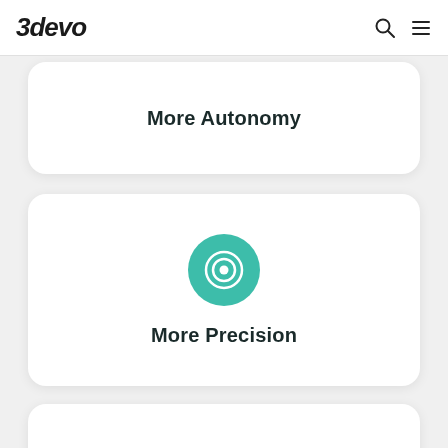3devo
More Autonomy
[Figure (illustration): Teal circular target/bullseye icon]
More Precision
[Figure (illustration): Teal circular person/user icon partially visible at bottom]